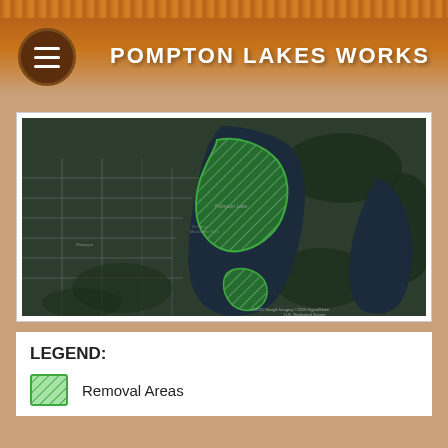POMPTON LAKES WORKS
[Figure (map): Aerial satellite map of Pompton Lakes, NJ showing two green hatched polygons indicating aquatic vegetation removal areas on Pompton Lake. The lake is visible as a dark body of water. Surrounding residential streets and forested areas are visible.]
LEGEND:
Removal Areas